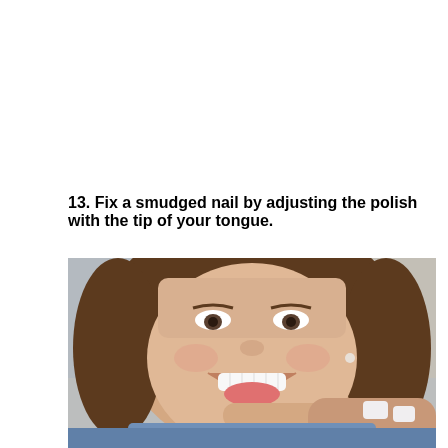13. Fix a smudged nail by adjusting the polish with the tip of your tongue.
[Figure (photo): A smiling woman with brown hair licking the tip of her finger, showing painted white nails. She is wearing a blue denim shirt.]